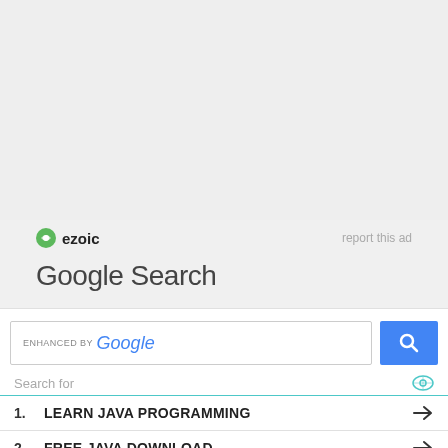[Figure (screenshot): Gray empty area at top of page]
ezoic   report this ad
Google Search
[Figure (screenshot): Google search widget with search bar, 'ENHANCED BY Google' label and blue search button]
Search for
1. LEARN JAVA PROGRAMMING →
2. FREE JAVA DOWNLOAD →
Yahoo! Search | Sponsored